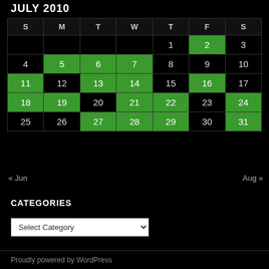JULY 2010
| S | M | T | W | T | F | S |
| --- | --- | --- | --- | --- | --- | --- |
|  |  |  |  | 1 | 2 | 3 |
| 4 | 5 | 6 | 7 | 8 | 9 | 10 |
| 11 | 12 | 13 | 14 | 15 | 16 | 17 |
| 18 | 19 | 20 | 21 | 22 | 23 | 24 |
| 25 | 26 | 27 | 28 | 29 | 30 | 31 |
« Jun    Aug »
CATEGORIES
Select Category
Proudly powered by WordPress